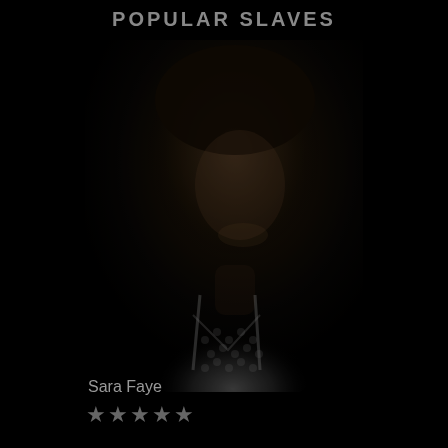POPULAR SLAVES
[Figure (photo): Dark photo of a woman with dark hair, wearing a white patterned spaghetti-strap top, looking to the side and smiling slightly, against a very dark background]
Sara Faye
★★★★★